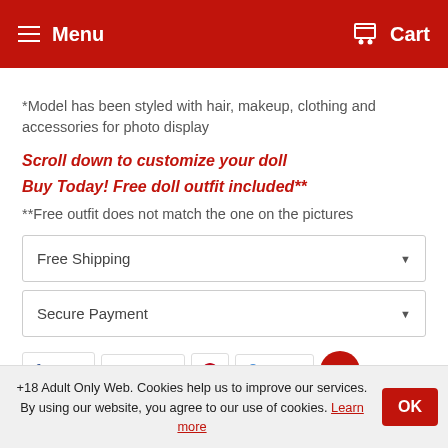Menu   Cart
*Model has been styled with hair, makeup, clothing and accessories for photo display
Scroll down to customize your doll
Buy Today! Free doll outfit included**
**Free outfit does not match the one on the pictures
Free Shipping
Secure Payment
Share   Tweet   [Pinterest]   Fancy
+18 Adult Only Web. Cookies help us to improve our services. By using our website, you agree to our use of cookies. Learn more